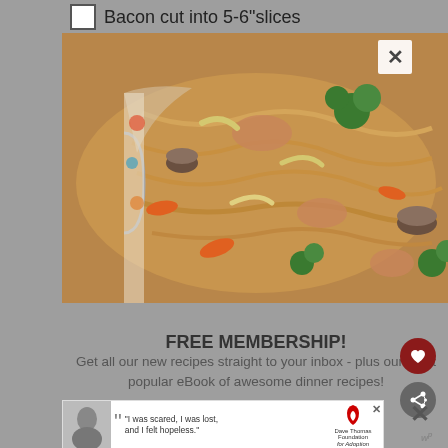Bacon cut into 5-6"slices
[Figure (photo): A pan or bowl of stir-fry noodles with broccoli, carrots, mushrooms, and chicken]
FREE MEMBERSHIP!
Get all our new recipes straight to your inbox - plus our most popular eBook of awesome dinner recipes!
[Figure (photo): Advertisement banner: "I was scared, I was lost, and I felt hopeless." with Dave Thomas Foundation for Adoption logo]